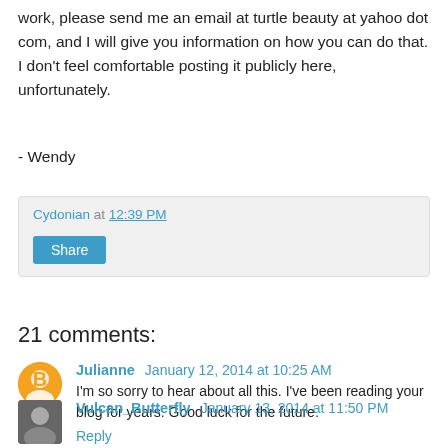work, please send me an email at turtle beauty at yahoo dot com, and I will give you information on how you can do that. I don't feel comfortable posting it publicly here, unfortunately.
- Wendy
Cydonian at 12:39 PM
Share
21 comments:
Julianne  January 12, 2014 at 10:25 AM
I'm so sorry to hear about all this. I've been reading your blog for years. Good luck for the future.
Reply
Vulcan_Butterfly  January 13, 2014 at 11:50 PM